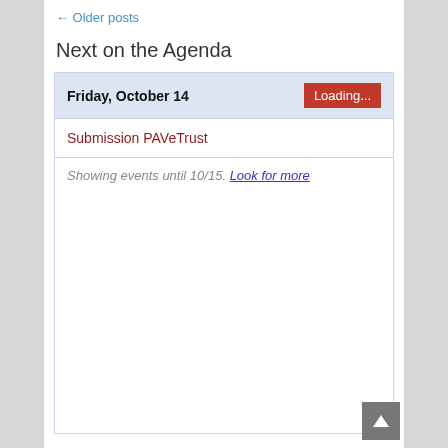← Older posts
Next on the Agenda
Friday, October 14
Loading...
Submission PAVeTrust
Showing events until 10/15. Look for more